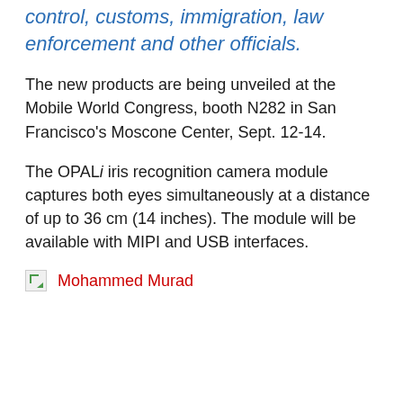control, customs, immigration, law enforcement and other officials.
The new products are being unveiled at the Mobile World Congress, booth N282 in San Francisco's Moscone Center, Sept. 12-14.
The OPALi iris recognition camera module captures both eyes simultaneously at a distance of up to 36 cm (14 inches). The module will be available with MIPI and USB interfaces.
[Figure (photo): Broken image placeholder followed by red text reading 'Mohammed Murad']